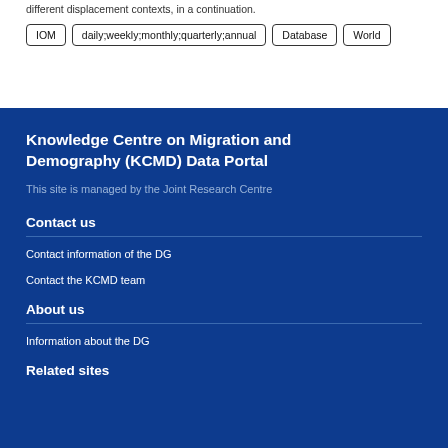different displacement contexts, in a continuation.
IOM
daily;weekly;monthly;quarterly;annual
Database
World
Knowledge Centre on Migration and Demography (KCMD) Data Portal
This site is managed by the Joint Research Centre
Contact us
Contact information of the DG
Contact the KCMD team
About us
Information about the DG
Related sites